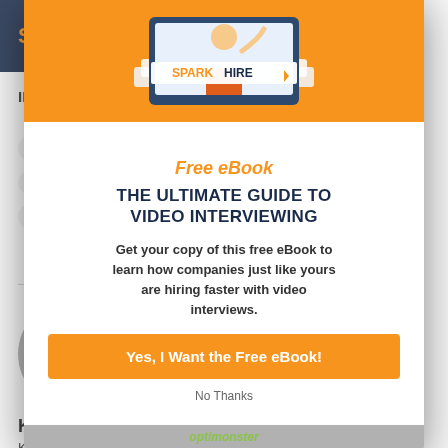SPARK HIRE
IMAGE: Cou[rtesy]
friendly boss[...]
office relatio[ns...]
working relat[ions...]
[Figure (photo): Black and white circular headshot photo of Kathryn R, smiling woman with shoulder length hair]
Kathryn R
Kathryn is a freelance writer currently living in Chicago, Illinois. She holds a B.A. in English Writing
[Figure (illustration): Spark Hire eBook cover - orange background with illustration of a woman waving from a video interview screen, stacked books below with Spark Hire logo]
Free eBook
THE ULTIMATE GUIDE TO VIDEO INTERVIEWING
Get your copy of this free eBook to learn how companies just like yours are hiring faster with video interviews.
Yes, I Want the Free eBook!
No Thanks
optinmonster